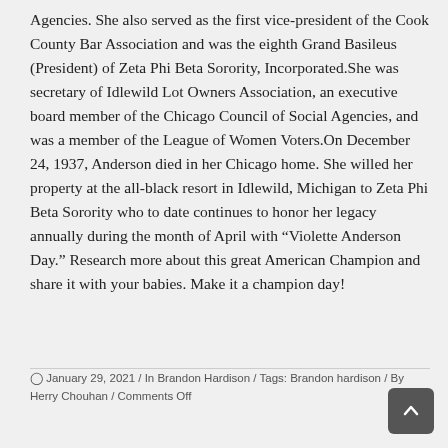Agencies. She also served as the first vice-president of the Cook County Bar Association and was the eighth Grand Basileus (President) of Zeta Phi Beta Sorority, Incorporated.She was secretary of Idlewild Lot Owners Association, an executive board member of the Chicago Council of Social Agencies, and was a member of the League of Women Voters.On December 24, 1937, Anderson died in her Chicago home. She willed her property at the all-black resort in Idlewild, Michigan to Zeta Phi Beta Sorority who to date continues to honor her legacy annually during the month of April with “Violette Anderson Day.” Research more about this great American Champion and share it with your babies. Make it a champion day!
○ January 29, 2021 / In Brandon Hardison / Tags: Brandon hardison / By Herry Chouhan / Comments Off